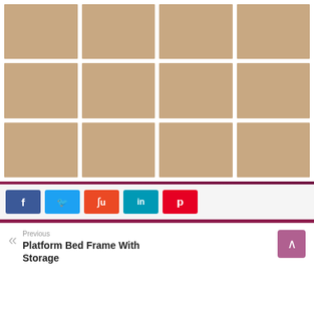[Figure (photo): Gallery grid of 12 pergola/outdoor structure photos arranged in 3 rows of 4]
Social share buttons: Facebook, Twitter, StumbleUpon, LinkedIn, Pinterest
Previous: Platform Bed Frame With Storage